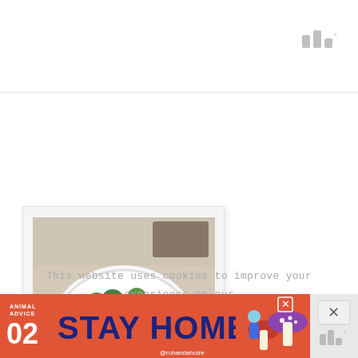[Figure (logo): Website logo mark — three vertical bar-like shapes with a degree symbol, in light gray]
[Figure (photo): A plate of mixed vegetable salad with broccoli, carrots, cauliflower, and other vegetables with dressing, photographed from above on a white plate with a fork, styled as a polaroid photo]
This website uses cookies to improve your experience on our website. Click here for more information.
[Figure (infographic): Orange/red advertisement banner reading 'ANIMAL ADVICE 02 STAY HOME @rohandahotre' with illustrated mushrooms and character, with a close button]
[Figure (logo): Small logo mark in gray beside the ad close button on the right side panel]